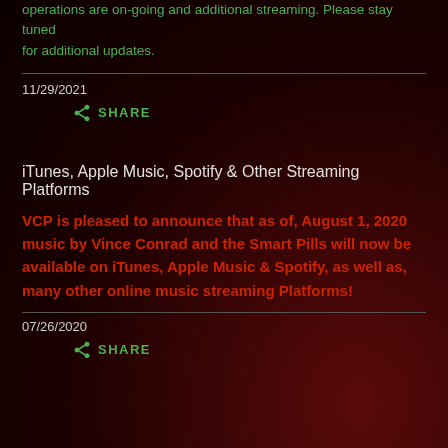operations are on-going and additional streaming. Please stay tuned for additional updates.
11/29/2021
SHARE
iTunes, Apple Music, Spotify & Other Streaming Platforms
VCP is pleased to announce that as of, August 1, 2020 music by Vince Conrad and the Smart Pills will now be available on iTunes, Apple Music & Spotify, as well as, many other online music streaming Platforms!
07/26/2020
SHARE